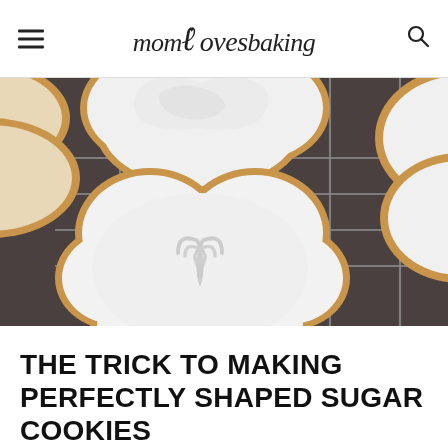mom loves baking
[Figure (photo): Close-up overhead photo of white-frosted sugar cookies in flower/cloud shapes with a heart design, resting on a metal wire cooling rack against a dark background]
THE TRICK TO MAKING PERFECTLY SHAPED SUGAR COOKIES